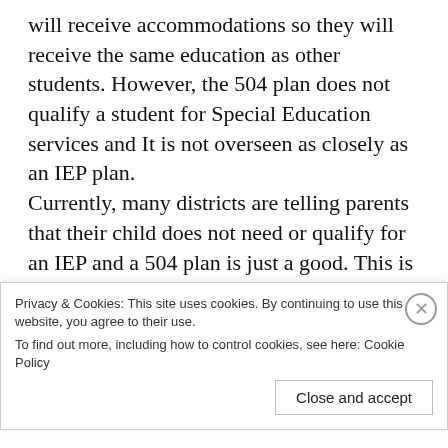will receive accommodations so they will receive the same education as other students. However, the 504 plan does not qualify a student for Special Education services and It is not overseen as closely as an IEP plan. Currently, many districts are telling parents that their child does not need or qualify for an IEP and a 504 plan is just a good. This is not true. Many school districts are telling parents that their child does not qualify for an IEP because the IEP is more expensive for the district and most districts are trying to save money.The districts take advantage
Privacy & Cookies: This site uses cookies. By continuing to use this website, you agree to their use.
To find out more, including how to control cookies, see here: Cookie Policy
Close and accept